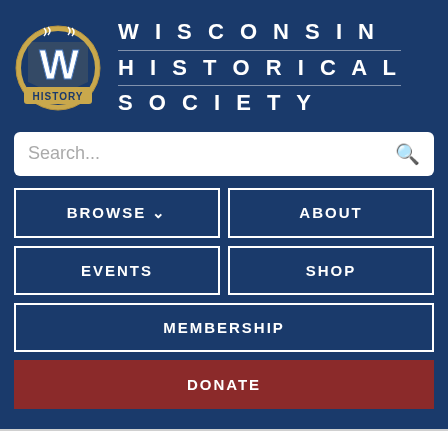[Figure (logo): Wisconsin Historical Society logo — a stylized W on a blue shield with baseball-stitch border, 'HISTORY' banner across bottom]
WISCONSIN HISTORICAL SOCIETY
Search...
BROWSE ∨
ABOUT
EVENTS
SHOP
MEMBERSHIP
DONATE
PHOTOGRAPH
CH-34A Helicoper